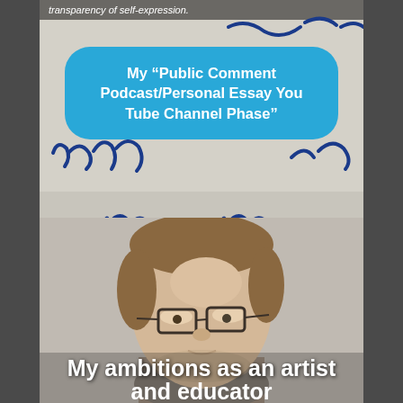transparency of self-expression.
[Figure (photo): Blue ink handwriting on paper background with a teal/cyan rounded rectangular speech bubble overlay containing text about a podcast/YouTube channel phase]
My “Public Comment Podcast/Personal Essay You Tube Channel Phase”
[Figure (photo): More blue ink handwriting on paper background]
[Figure (photo): Close-up portrait photo of a young man with brown hair and glasses, looking slightly downward]
My ambitions as an artist and educator